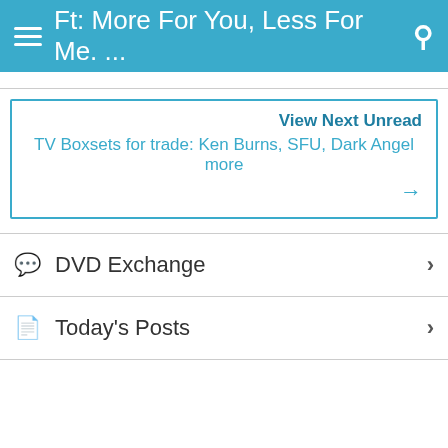Ft: More For You, Less For Me. ...
View Next Unread
TV Boxsets for trade: Ken Burns, SFU, Dark Angel more →
DVD Exchange
Today's Posts